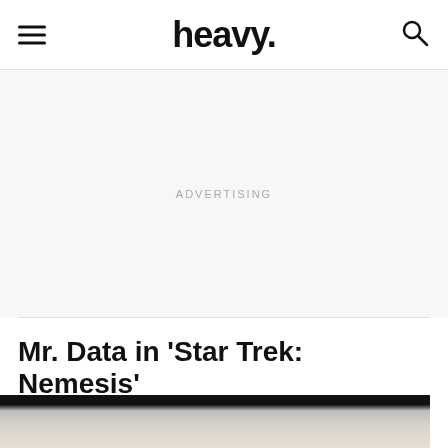heavy.
ADVERTISING
Mr. Data in 'Star Trek: Nemesis'
[Figure (photo): A dark/grayscale image beginning to appear at the bottom of the page, partially cut off, with a black banner at top and gray/beige tones below suggesting a person or scene from Star Trek: Nemesis]